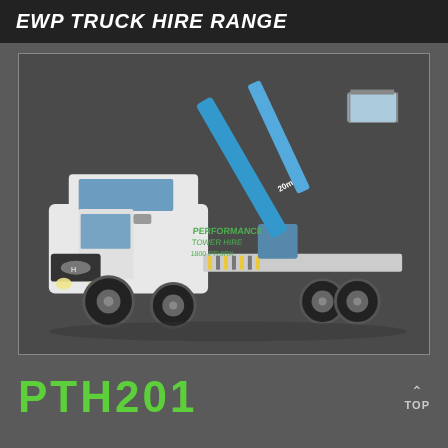EWP TRUCK HIRE RANGE
[Figure (photo): White Hyundai EWP (Elevated Work Platform) truck with a blue boom lift/cherry picker mounted on the flatbed tray. The truck has green 'Performance Tower Hire' branding and '1800 PTHIRX' contact number on the side. The boom arm is extended upward and to the right. The truck is photographed on a grey background.]
PTH201